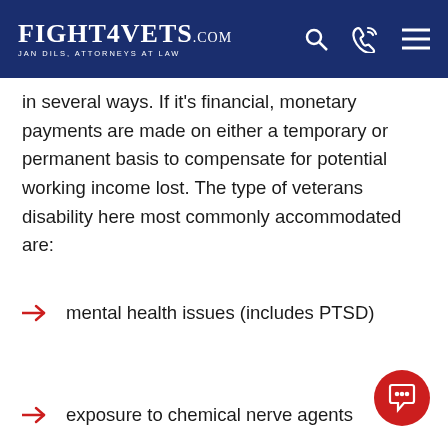FIGHT4VETS.com — JAN DILS, ATTORNEYS AT LAW
in several ways. If it's financial, monetary payments are made on either a temporary or permanent basis to compensate for potential working income lost. The type of veterans disability here most commonly accommodated are:
mental health issues (includes PTSD)
exposure to chemical nerve agents